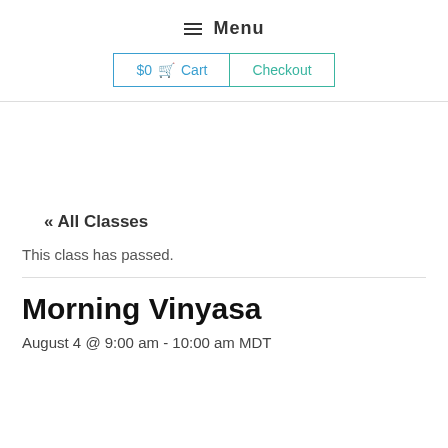≡ Menu
$0 🛒 Cart  Checkout
« All Classes
This class has passed.
Morning Vinyasa
August 4 @ 9:00 am - 10:00 am MDT